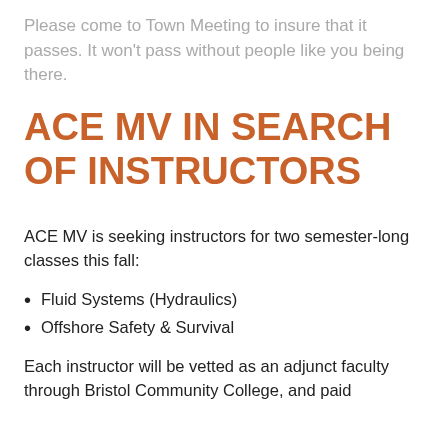Please come to Town Meeting to insure that it passes.  It won't pass without people like you being there.
ACE MV IN SEARCH OF INSTRUCTORS
ACE MV is seeking instructors for two semester-long classes this fall:
Fluid Systems (Hydraulics)
Offshore Safety & Survival
Each instructor will be vetted as an adjunct faculty through Bristol Community College, and paid